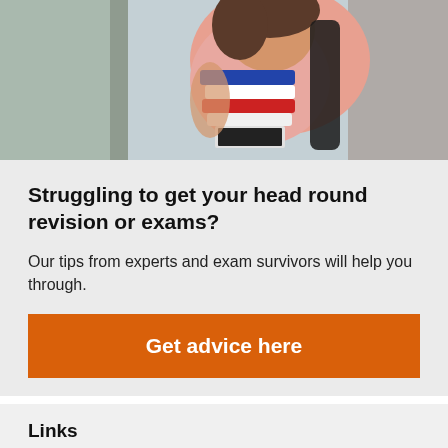[Figure (photo): A student carrying books and folders, wearing a pink top and dark bag straps, viewed through what appears to be a doorway or window frame.]
Struggling to get your head round revision or exams?
Our tips from experts and exam survivors will help you through.
Get advice here
Links
BBC Skillswise
BBC Writers Room
BBC A...